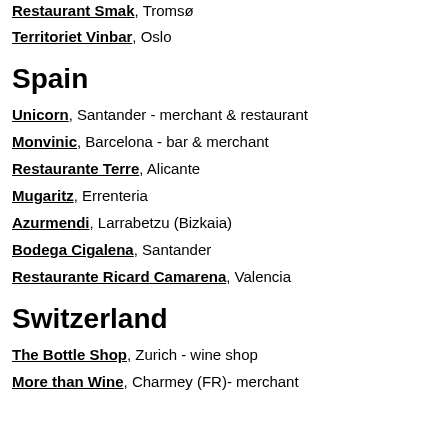Restaurant Smak, Tromsø
Territoriet Vinbar, Oslo
Spain
Unicorn, Santander - merchant & restaurant
Monvinic, Barcelona - bar & merchant
Restaurante Terre, Alicante
Mugaritz, Errenteria
Azurmendi, Larrabetzu (Bizkaia)
Bodega Cigalena, Santander
Restaurante Ricard Camarena, Valencia
Switzerland
The Bottle Shop, Zurich - wine shop
More than Wine, Charmey (FR)- merchant